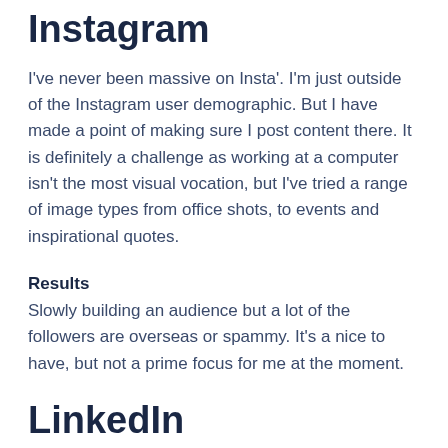Instagram
I've never been massive on Insta'. I'm just outside of the Instagram user demographic. But I have made a point of making sure I post content there. It is definitely a challenge as working at a computer isn't the most visual vocation, but I've tried a range of image types from office shots, to events and inspirational quotes.
Results
Slowly building an audience but a lot of the followers are overseas or spammy. It's a nice to have, but not a prime focus for me at the moment.
LinkedIn
I'm in two minds as to whether to distribute my articles on LinkedIn's platform, or just link back to